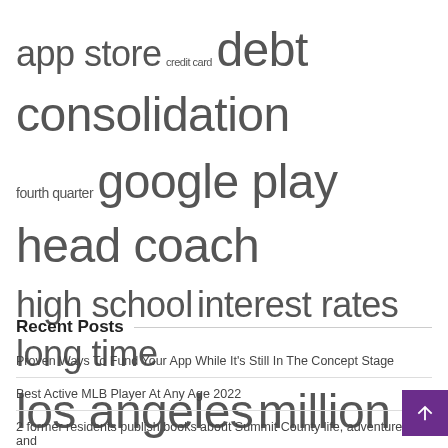[Figure (infographic): Tag cloud with terms of varying sizes: app store (large), credit card (small), debt consolidation (xlarge), fourth quarter (small), google play (xlarge), head coach (xlarge), high school (large), interest rates (large), long time (large), los angeles (xlarge), million downloads (xlarge), payday loans (medium), play store (large), regular season (large), social media (large), united states (xxlarge), video games (large)]
Recent Posts
Proven Ways To Fund Your App While It's Still In The Concept Stage
Best Active MLB Player At Any Age 2022
2 former residents publish books about Summit County life, adventures and